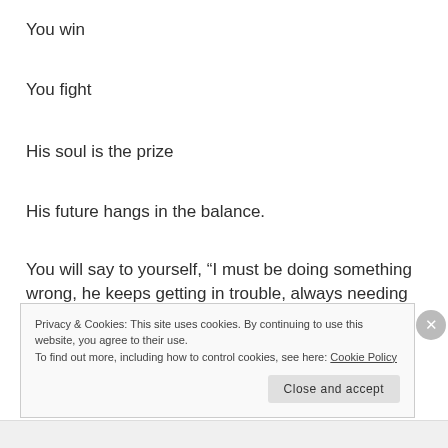You win
You fight
His soul is the prize
His future hangs in the balance.
You will say to yourself, “I must be doing something wrong, he keeps getting in trouble, always needing to be disciplined”
Yes he does, keep doing it.
Privacy & Cookies: This site uses cookies. By continuing to use this website, you agree to their use.
To find out more, including how to control cookies, see here: Cookie Policy